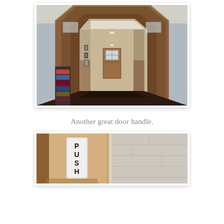[Figure (photo): Interior hallway with ornate dark wood door frame in the foreground, leading down a long corridor with wood-paneled walls, framed pictures on the left wall, dark carpet, and a wooden door with glass window at the far end. A bookshelf or shelving unit is visible on the left side.]
Another great door handle.
[Figure (photo): Close-up of a wooden door frame with a vertical metal 'PUSH' sign plate mounted on it, against a light-colored brick or block wall background.]